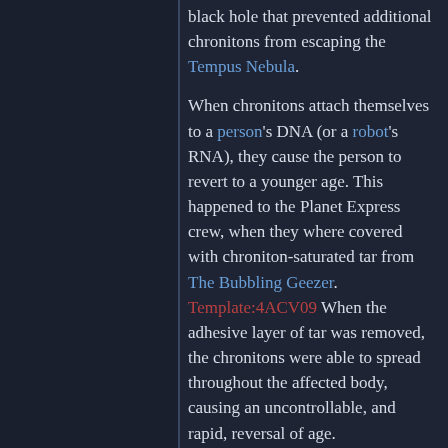black hole that prevented additional chronitons from escaping the Tempus Nebula.
When chronitons attach themselves to a person's DNA (or a robot's RNA), they cause the person to revert to a younger age. This happened to the Planet Express crew, when they where covered with chroniton-saturated tar from The Bubbling Geezer. Template:4ACV09 When the adhesive layer of tar was removed, the chronitons were able to spread throughout the affected body, causing an uncontrollable, and rapid, reversal of age.
Antichronitons
Antichronitons are the opposite of chronitons, and can cause time to skip